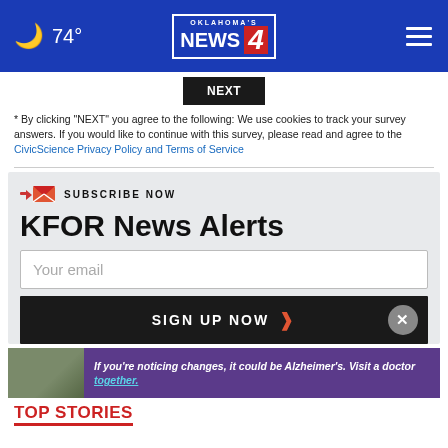74° — Oklahoma's News 4
* By clicking "NEXT" you agree to the following: We use cookies to track your survey answers. If you would like to continue with this survey, please read and agree to the CivicScience Privacy Policy and Terms of Service
SUBSCRIBE NOW
KFOR News Alerts
Your email
SIGN UP NOW
[Figure (photo): Advertisement banner: two men outdoors, text reads 'If you're noticing changes, it could be Alzheimer's. Visit a doctor together.']
TOP STORIES